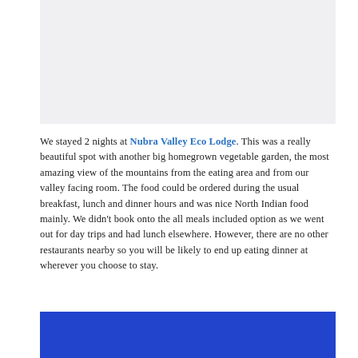[Figure (photo): Photograph of a landscape or lodge area, appears mostly white/light with some structure visible at top]
We stayed 2 nights at Nubra Valley Eco Lodge. This was a really beautiful spot with another big homegrown vegetable garden, the most amazing view of the mountains from the eating area and from our valley facing room. The food could be ordered during the usual breakfast, lunch and dinner hours and was nice North Indian food mainly. We didn't book onto the all meals included option as we went out for day trips and had lunch elsewhere. However, there are no other restaurants nearby so you will be likely to end up eating dinner at wherever you choose to stay.
[Figure (photo): Photo with blue/cobalt background, partially visible at bottom of page]